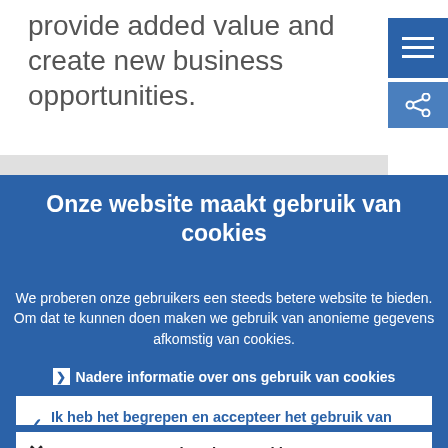provide added value and create new business opportunities.
[Figure (screenshot): Blue hamburger menu button (three white horizontal lines) in top right corner]
Onze website maakt gebruik van cookies
We proberen onze gebruikers een steeds betere website te bieden. Om dat te kunnen doen maken we gebruik van anonieme gegevens afkomstig van cookies.
▶ Nadere informatie over ons gebruik van cookies
✓ Ik heb het begrepen en accepteer het gebruik van cookies
✗ Ik weiger cookies